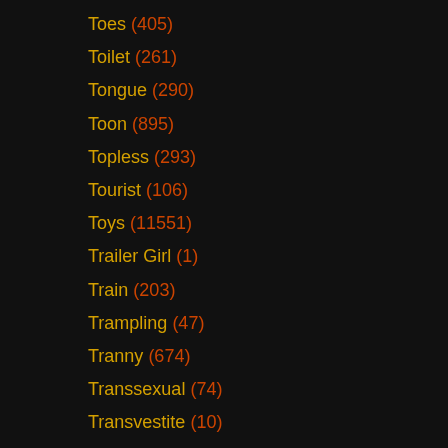Toes (405)
Toilet (261)
Tongue (290)
Toon (895)
Topless (293)
Tourist (106)
Toys (11551)
Trailer Girl (1)
Train (203)
Trampling (47)
Tranny (674)
Transsexual (74)
Transvestite (10)
Tribbing (92)
Tribute (225)
Tricked (71)